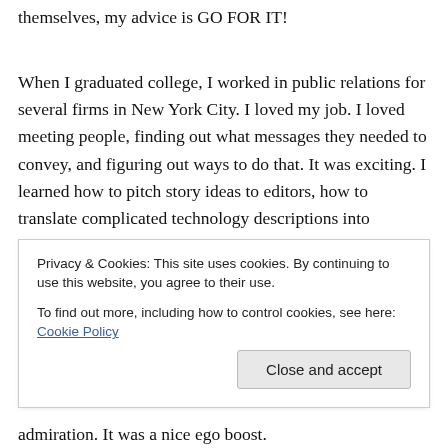themselves, my advice is GO FOR IT!
When I graduated college, I worked in public relations for several firms in New York City. I loved my job. I loved meeting people, finding out what messages they needed to convey, and figuring out ways to do that. It was exciting. I learned how to pitch story ideas to editors, how to translate complicated technology descriptions into common English that the average
Privacy & Cookies: This site uses cookies. By continuing to use this website, you agree to their use.
To find out more, including how to control cookies, see here: Cookie Policy
admiration. It was a nice ego boost.